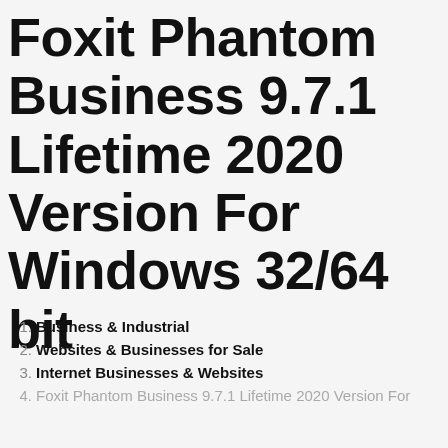Foxit Phantom Business 9.7.1 Lifetime 2020 Version For Windows 32/64 bit
Business & Industrial
Websites & Businesses for Sale
Internet Businesses & Websites
Foxit Phantom Business 9.7.1 Lifetime 2020 Version For